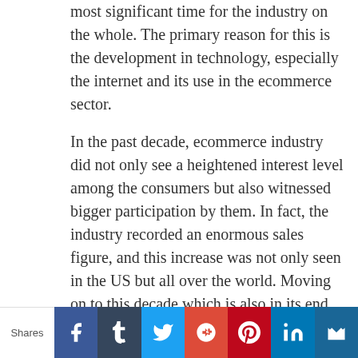most significant time for the industry on the whole. The primary reason for this is the development in technology, especially the internet and its use in the ecommerce sector.
In the past decade, ecommerce industry did not only see a heightened interest level among the consumers but also witnessed bigger participation by them. In fact, the industry recorded an enormous sales figure, and this increase was not only seen in the US but all over the world. Moving on to this decade which is also in its end, there seems to be no dropping in the sales value or any dipping of the curve.
According to E-Marketer it was found that:
China earned almost $900 billion from their
Shares | Facebook | Tumblr | Twitter | Google+ | Pinterest | LinkedIn | Email